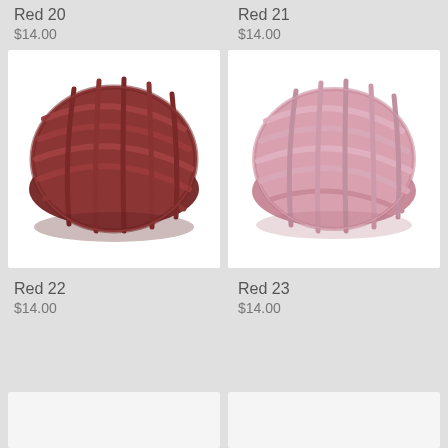Red 20
$14.00
Red 21
$14.00
[Figure (photo): Ball of dark red/burgundy yarn wound in a cross-hatch pattern]
[Figure (photo): Ball of pink yarn wound in a cross-hatch pattern]
Red 22
$14.00
Red 23
$14.00
[Figure (photo): Partially visible product image at bottom left]
[Figure (photo): Partially visible product image at bottom right]